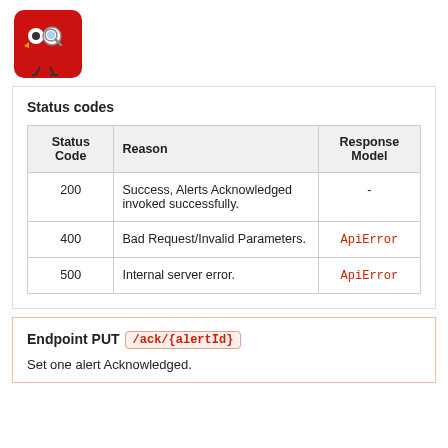[Figure (logo): Red bird-like cartoon logo with magnifying glass on red square background]
Status codes
| Status Code | Reason | Response Model |
| --- | --- | --- |
| 200 | Success, Alerts Acknowledged invoked successfully. | - |
| 400 | Bad Request/Invalid Parameters. | ApiError |
| 500 | Internal server error. | ApiError |
Endpoint PUT /ack/{alertId}
Set one alert Acknowledged.